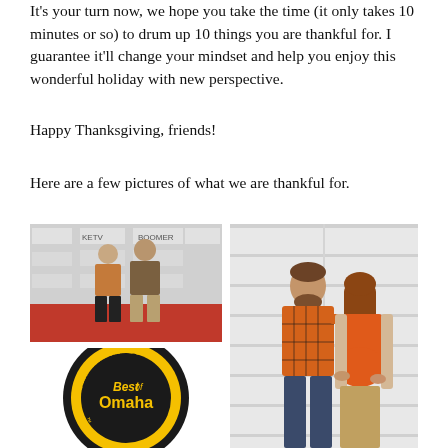It's your turn now, we hope you take the time (it only takes 10 minutes or so) to drum up 10 things you are thankful for. I guarantee it'll change your mindset and help you enjoy this wonderful holiday with new perspective.
Happy Thanksgiving, friends!
Here are a few pictures of what we are thankful for.
[Figure (photo): A couple posing in front of a red carpet backdrop with KETV and Boomer branding logos. The woman wears a rust/orange blouse and black pants; the man wears a brown jacket and khaki pants.]
[Figure (logo): Omaha Magazine's Best of Omaha circular badge/seal in black and yellow.]
[Figure (photo): A couple standing in front of a white garage door. The man wears an orange plaid flannel shirt, the woman wears an orange top and beige cardigan and appears to be pregnant. The man has his arm around her.]